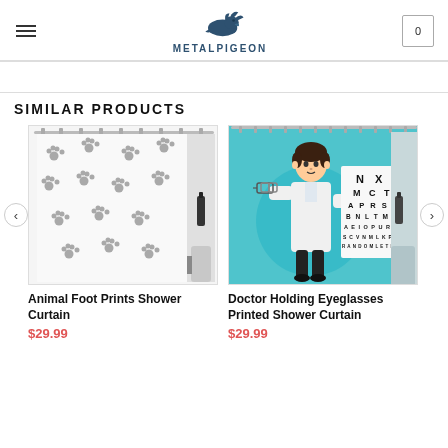METALPIGEON — navigation header with hamburger menu and cart
SIMILAR PRODUCTS
[Figure (photo): Animal Foot Prints Shower Curtain — white shower curtain with grey paw print pattern in a bathroom setting]
Animal Foot Prints Shower Curtain
$29.99
[Figure (photo): Doctor Holding Eyeglasses Printed Shower Curtain — teal shower curtain featuring a cartoon doctor holding glasses and an eye chart]
Doctor Holding Eyeglasses Printed Shower Curtain
$29.99